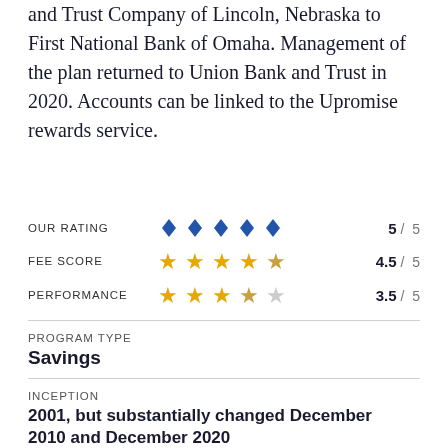and Trust Company of Lincoln, Nebraska to First National Bank of Omaha. Management of the plan returned to Union Bank and Trust in 2020. Accounts can be linked to the Upromise rewards service.
| Category | Stars | Score |
| --- | --- | --- |
| OUR RATING | 5 diamonds | 5 / 5 |
| FEE SCORE | 4.5 stars | 4.5 / 5 |
| PERFORMANCE | 3.5 stars | 3.5 / 5 |
PROGRAM TYPE
Savings
INCEPTION
2001, but substantially changed December 2010 and December 2020